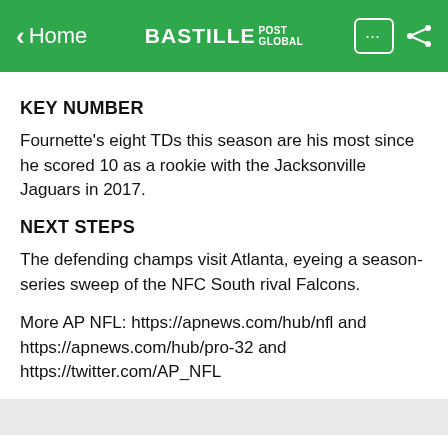< Home | BASTILLE POST GLOBAL
KEY NUMBER
Fournette's eight TDs this season are his most since he scored 10 as a rookie with the Jacksonville Jaguars in 2017.
NEXT STEPS
The defending champs visit Atlanta, eyeing a season-series sweep of the NFC South rival Falcons.
More AP NFL: https://apnews.com/hub/nfl and https://apnews.com/hub/pro-32 and https://twitter.com/AP_NFL
The Tampa Bay Buccaneers are running out of superlatives to describe the impact of Tom Brady.
The defending Super Bowl champions improved to 5-0 in